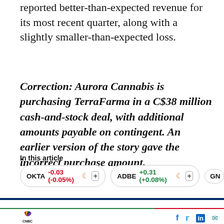reported better-than-expected revenue for its most recent quarter, along with a slightly smaller-than-expected loss.
Correction: Aurora Cannabis is purchasing TerraFarma in a C$38 million cash-and-stock deal, with additional amounts payable on contingent. An earlier version of the story gave the incorrect purchase amount.
In this article
OKTA -0.03 (-0.05%)  ADBE +0.31 (+0.08%)  GN...
[Figure (logo): CNBC logo with peacock icon and social media icons (Facebook, Twitter, LinkedIn, Email)]